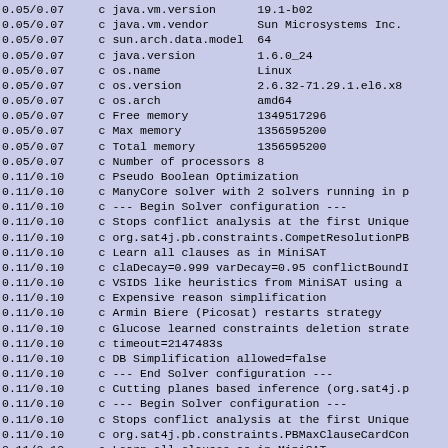0.05/0.07     c java.vm.version      19.1-b02
0.05/0.07     c java.vm.vendor       Sun Microsystems Inc.
0.05/0.07     c sun.arch.data.model  64
0.05/0.07     c java.version         1.6.0_24
0.05/0.07     c os.name              Linux
0.05/0.07     c os.version           2.6.32-71.29.1.el6.x8
0.05/0.07     c os.arch              amd64
0.05/0.07     c Free memory          1349517296
0.05/0.07     c Max memory           1356595200
0.05/0.07     c Total memory         1356595200
0.05/0.07     c Number of processors 8
0.11/0.10     c Pseudo Boolean Optimization
0.11/0.10     c ManyCore solver with 2 solvers running in p
0.11/0.10     c --- Begin Solver configuration ---
0.11/0.10     c Stops conflict analysis at the first Unique
0.11/0.10     c org.sat4j.pb.constraints.CompetResolutionPB
0.11/0.10     c Learn all clauses as in MiniSAT
0.11/0.10     c claDecay=0.999 varDecay=0.95 conflictBoundI
0.11/0.10     c VSIDS like heuristics from MiniSAT using a
0.11/0.10     c Expensive reason simplification
0.11/0.10     c Armin Biere (Picosat) restarts strategy
0.11/0.10     c Glucose learned constraints deletion strate
0.11/0.10     c timeout=2147483s
0.11/0.10     c DB Simplification allowed=false
0.11/0.10     c --- End Solver configuration ---
0.11/0.10     c Cutting planes based inference (org.sat4j.p
0.11/0.10     c --- Begin Solver configuration ---
0.11/0.10     c Stops conflict analysis at the first Unique
0.11/0.10     c org.sat4j.pb.constraints.PBMaxClauseCardCon
0.11/0.10     c Learn all clauses as in MiniSAT
0.11/0.10     c claDecay=0.999 varDecay=0.95 conflictBoundT
0.11/0.10     c VSIDS like heuristics from MiniSAT using a